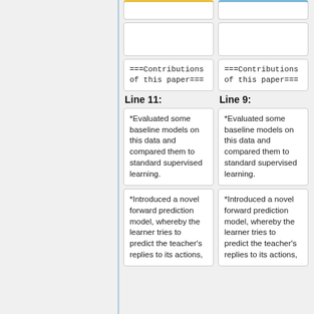(yellow top box - partial, top of page left column)
(blue top box - partial, top of page right column)
(empty box left)
(empty box right)
===Contributions of this paper===
===Contributions of this paper===
Line 11:
Line 9:
*Evaluated some baseline models on this data and compared them to standard supervised learning.
*Evaluated some baseline models on this data and compared them to standard supervised learning.
*Introduced a novel forward prediction model, whereby the learner tries to predict the teacher's replies to its actions,
*Introduced a novel forward prediction model, whereby the learner tries to predict the teacher's replies to its actions,